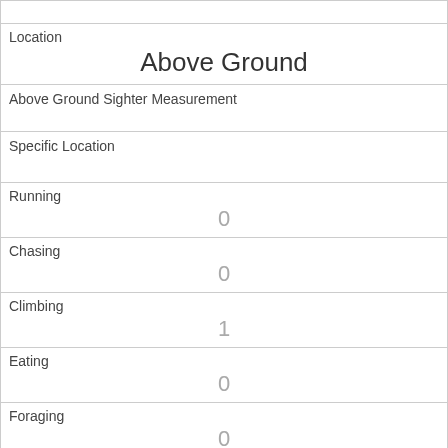| Location | Above Ground |
| Above Ground Sighter Measurement |  |
| Specific Location |  |
| Running | 0 |
| Chasing | 0 |
| Climbing | 1 |
| Eating | 0 |
| Foraging | 0 |
| Other Activities |  |
| Kuks | 0 |